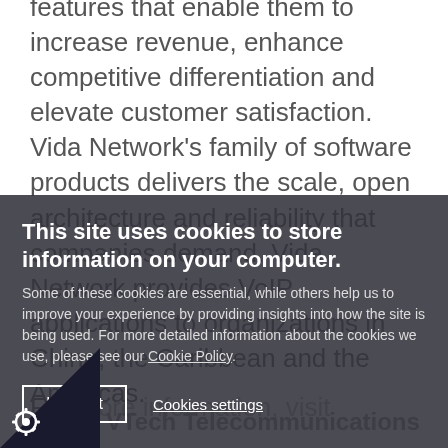features that enable them to increase revenue, enhance competitive differentiation and elevate customer satisfaction. Vida Network's family of software products delivers the scale, open architecture and reliability that companies demand. Vida Network provides VoIP applications to organizations in China, the Caribbean and the Americas. For more information, visit vidanetwork.net.
About VTech Telecommunications Inc.
VTech provides a diverse collection of telecommunication products that elevate the consumer experience through state-
[Figure (screenshot): Cookie consent modal overlay on a webpage. Dark semi-transparent overlay covers lower portion of page. Modal contains bold white title 'This site uses cookies to store information on your computer.' followed by body text about cookies, a Cookie Policy link, an 'I Accept' button with white border, and a 'Cookies settings' underlined link. Bottom-left has a black triangle with a gear/cookie icon.]